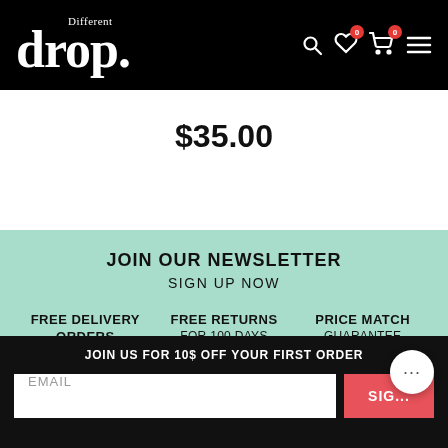Different drop.
$35.00
JOIN OUR NEWSLETTER
SIGN UP NOW
FREE DELIVERY ORDERS OVER $149
FREE RETURNS FOR 100 DAYS
PRICE MATCH GUARANTEE
JOIN US FOR 10$ OFF YOUR FIRST ORDER